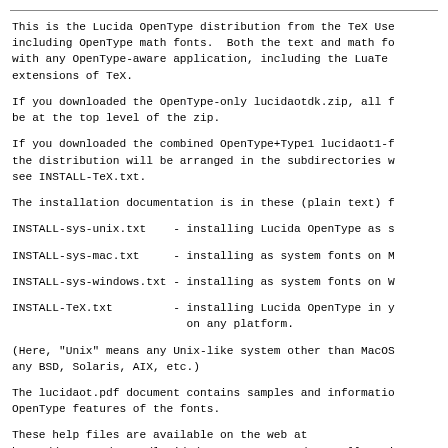This is the Lucida OpenType distribution from the TeX Use
including OpenType math fonts.  Both the text and math fo
with any OpenType-aware application, including the LuaTe
extensions of TeX.
If you downloaded the OpenType-only lucidaotdk.zip, all f
be at the top level of the zip.
If you downloaded the combined OpenType+Type1 lucidaot1-f
the distribution will be arranged in the subdirectories w
see INSTALL-TeX.txt.
The installation documentation is in these (plain text) f
INSTALL-sys-unix.txt    - installing Lucida OpenType as s
INSTALL-sys-mac.txt     - installing as system fonts on M
INSTALL-sys-windows.txt - installing as system fonts on W
INSTALL-TeX.txt         - installing Lucida OpenType in y
                          on any platform.
(Here, "Unix" means any Unix-like system other than MacOS
any BSD, Solaris, AIX, etc.)
The lucidaot.pdf document contains samples and informatio
OpenType features of the fonts.
These help files are available on the web at
http://tug.org/store/lucida/README-opentype/ as well as i
distribution.